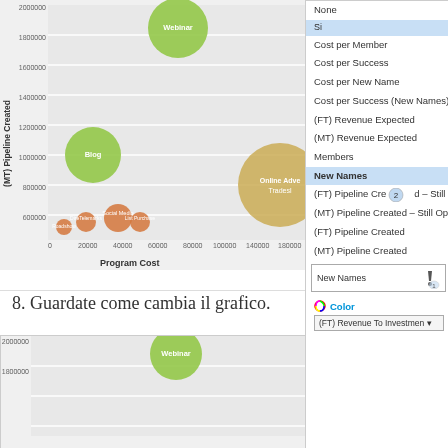[Figure (screenshot): Bubble chart screenshot showing (MT) Pipeline Created vs Program Cost with a dropdown menu open on the right side. Dropdown shows options: None, Cost per Member, Cost per Success, Cost per New Name, Cost per Success (New Names), (FT) Revenue Expected, (MT) Revenue Expected, Members, New Names (highlighted), (FT) Pipeline Created - Still Open, (MT) Pipeline Created - Still Op..., (FT) Pipeline Created, (MT) Pipeline Created. Below that a selected box showing 'New Names'. A Color section with (FT) Revenue To Investmen dropdown. The bubble chart has bubbles labeled Webinar (large green, top center), Blog (medium green, middle left), Online Adve... (large gold, bottom right), Tradesl... (medium gold, bottom right), Social Media, DireTelemarks, List Purchase, Roadshow (small orange/red bubbles, bottom left). Y axis: (MT) Pipeline Created, X axis: Program Cost.]
8. Guardate come cambia il grafico.
[Figure (screenshot): Partial screenshot of the bubble chart after change, showing 2000000 and 1800000 y-axis labels, Webinar bubble (large green, top), and a Settings panel on the right with an X Axis arrow button visible.]